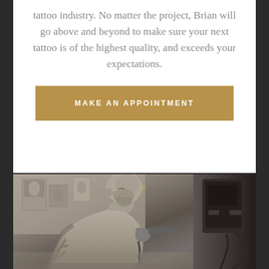tattoo industry. No matter the project, Brian will go above and beyond to make sure your next tattoo is of the highest quality, and exceeds your expectations.
MAKE AN APPOINTMENT
[Figure (photo): Black and white photograph of a bald tattooed man leaning over and working with a tattoo machine, tattoo artwork visible on his arms and shoulder, tattoo flash art and drawings visible on the wall behind him]